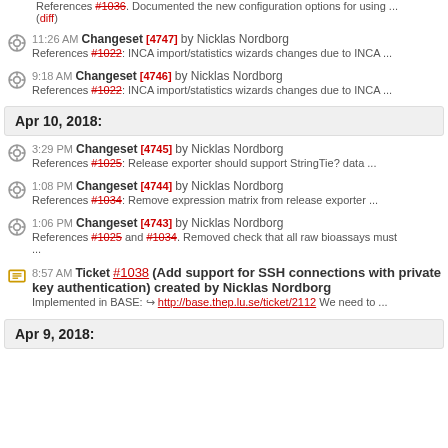References #1036. Documented the new configuration options for using ... (diff)
11:26 AM Changeset [4747] by Nicklas Nordborg — References #1022: INCA import/statistics wizards changes due to INCA ...
9:18 AM Changeset [4746] by Nicklas Nordborg — References #1022: INCA import/statistics wizards changes due to INCA ...
Apr 10, 2018:
3:29 PM Changeset [4745] by Nicklas Nordborg — References #1025: Release exporter should support StringTie? data ...
1:08 PM Changeset [4744] by Nicklas Nordborg — References #1034: Remove expression matrix from release exporter ...
1:06 PM Changeset [4743] by Nicklas Nordborg — References #1025 and #1034. Removed check that all raw bioassays must ...
8:57 AM Ticket #1038 (Add support for SSH connections with private key authentication) created by Nicklas Nordborg — Implemented in BASE: http://base.thep.lu.se/ticket/2112 We need to ...
Apr 9, 2018: